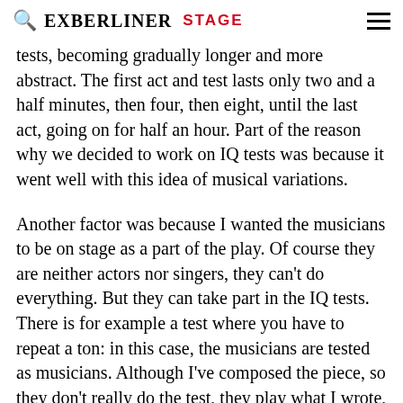EXBERLINER STAGE
tests, becoming gradually longer and more abstract. The first act and test lasts only two and a half minutes, then four, then eight, until the last act, going on for half an hour. Part of the reason why we decided to work on IQ tests was because it went well with this idea of musical variations.
Another factor was because I wanted the musicians to be on stage as a part of the play. Of course they are neither actors nor singers, they can't do everything. But they can take part in the IQ tests. There is for example a test where you have to repeat a ton: in this case, the musicians are tested as musicians. Although I've composed the piece, so they don't really do the test, they play what I wrote, and we know in advance who will make the mistake!